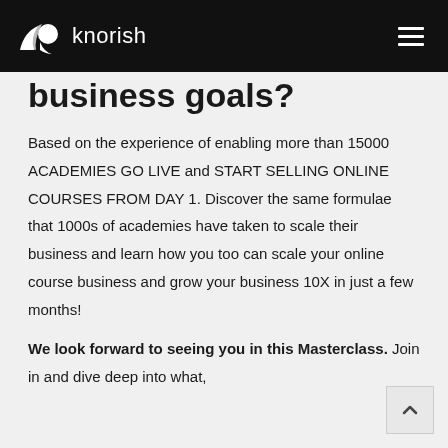knorish
business goals?
Based on the experience of enabling more than 15000 ACADEMIES GO LIVE and START SELLING ONLINE COURSES FROM DAY 1. Discover the same formulae that 1000s of academies have taken to scale their business and learn how you too can scale your online course business and grow your business 10X in just a few months!
We look forward to seeing you in this Masterclass. Join in and dive deep into what,